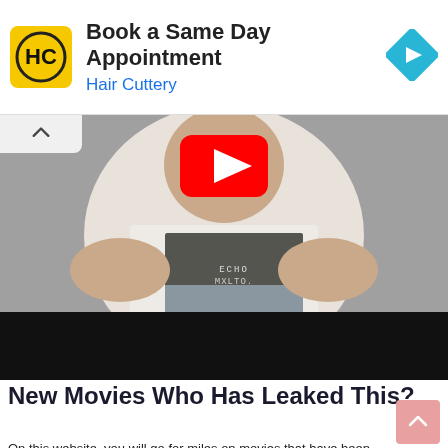[Figure (screenshot): Advertisement banner for Hair Cuttery showing logo, 'Book a Same Day Appointment' text, and a navigation arrow icon]
[Figure (screenshot): YouTube video thumbnail showing a person wearing a t-shirt with 'ECHO MXLTO' text, with YouTube play button overlay and black bar at bottom]
New Movies Who Has Leaked This?
On this website, you will go for miles on movies that have been leaked. Let us know about some new leaked movies-